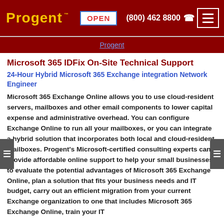Progent™  OPEN  (800) 462 8800
Progent
Microsoft 365 IDFix On-Site Technical Support
24-Hour Hybrid Microsoft 365 Exchange integration Network Engineer
Microsoft 365 Exchange Online allows you to use cloud-resident servers, mailboxes and other email components to lower capital expense and administrative overhead. You can configure Exchange Online to run all your mailboxes, or you can integrate a hybrid solution that incorporates both local and cloud-resident mailboxes. Progent's Microsoft-certified consulting experts can provide affordable online support to help your small businesses to evaluate the potential advantages of Microsoft 365 Exchange Online, plan a solution that fits your business needs and IT budget, carry out an efficient migration from your current Exchange organization to one that includes Microsoft 365 Exchange Online, train your IT